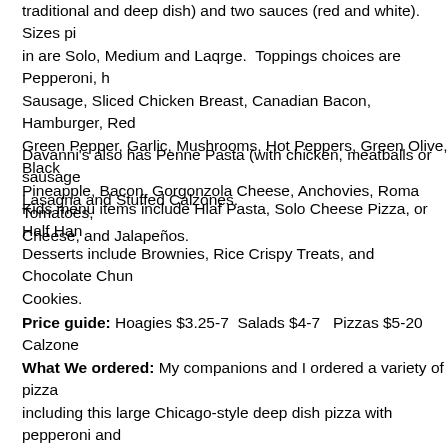traditional and deep dish) and two sauces (red and white).  Sizes pi... in are Solo, Medium and Laqrge.  Toppings choices are Pepperoni, h Sausage, Sliced Chicken Breast, Canadian Bacon, Hamburger, Red Green Pepper, Garlic, Mushrooms, Hot Peppers, Green Olive, Black Pineapple, Bacon, Gorgonzola Cheese, Anchovies, Roma Tomatoes, Cheese, and Jalapeños.
Davanni's also has Penne Pasta (with chicken, meatballs or sausage), Lasagna and Stuffed Calzones.
Kids menu items include Hlaf Pasta, Solo Cheese Pizza, or Half Ham...
Desserts include Brownies, Rice Crispy Treats, and Chocolate Chun... Cookies.
Price guide: Hoagies $3.25-7  Salads $4-7   Pizzas $5-20  Calzone... What We ordered: My companions and I ordered a variety of pizza including this large Chicago-style deep dish pizza with pepperoni and sausage.  Davanni's deep dish is a treat for those who like real Chica... pizza and has been my one of family's favorites for many years.  The brown crust is at least 1" deep yet it is light.  The lightness of the crus... deceiving because the pizza is actually very filling.   The cheese and were baked directly on top of the crust with pizza sauce spread out...